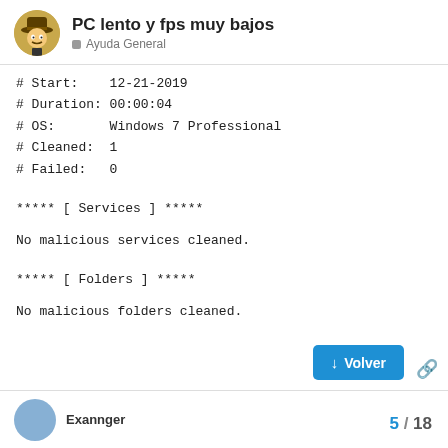PC lento y fps muy bajos
Ayuda General
# Start:    12-21-2019
# Duration: 00:00:04
# OS:       Windows 7 Professional
# Cleaned:  1
# Failed:   0

***** [ Services ] *****

No malicious services cleaned.

***** [ Folders ] *****

No malicious folders cleaned.
Exannger